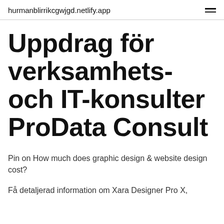hurmanblirrikcgwjgd.netlify.app
Uppdrag för verksamhets- och IT-konsulter ProData Consult
Pin on How much does graphic design & website design cost?
Få detaljerad information om Xara Designer Pro X,